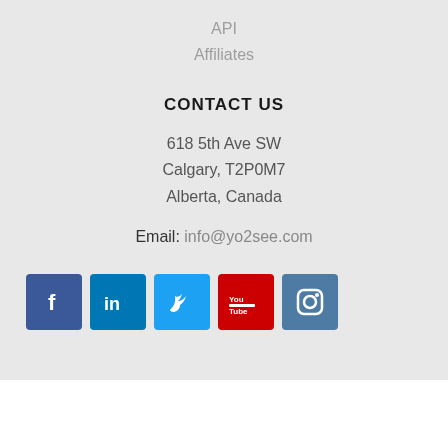API
Affiliates
CONTACT US
618 5th Ave SW
Calgary, T2P0M7
Alberta, Canada
Email: info@yo2see.com
[Figure (other): Social media icons row: Facebook, LinkedIn, Twitter, YouTube, Instagram]